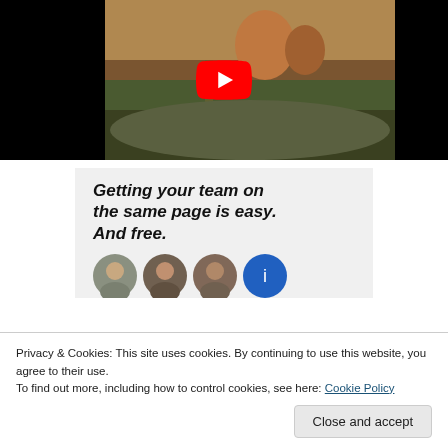[Figure (screenshot): YouTube video thumbnail showing a painted artwork with a red YouTube play button overlay. Black bars on left and right sides.]
[Figure (screenshot): Advertisement banner on light gray background with bold italic text: 'Getting your team on the same page is easy. And free.' Below are circular avatar images of people.]
Privacy & Cookies: This site uses cookies. By continuing to use this website, you agree to their use.
To find out more, including how to control cookies, see here: Cookie Policy
Close and accept